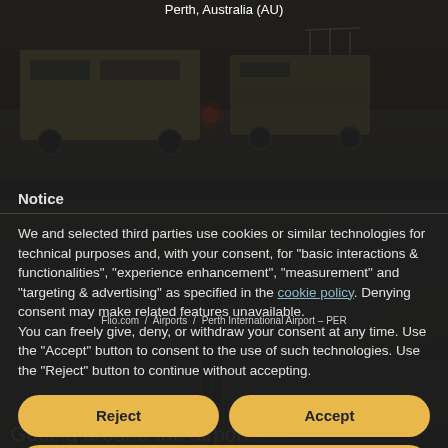Perth, Australia (AU)
[Figure (photo): Airport ramp vehicles including cargo loaders on tarmac at dusk, dark moody lighting]
[Figure (photo): Person in business attire walking down airport terminal corridor/walkway, black and white tones]
Notice
We and selected third parties use cookies or similar technologies for technical purposes and, with your consent, for "basic interactions & functionalities", "experience enhancement", "measurement" and "targeting & advertising" as specified in the cookie policy. Denying consent may make related features unavailable.
You can freely give, deny, or withdraw your consent at any time. Use the "Accept" button to consent to the use of such technologies. Use the "Reject" button to continue without accepting.
Flio.com / Airports / Perth International Airport – PER
Reject
Accept
Learn more and customise
Getting around the airport